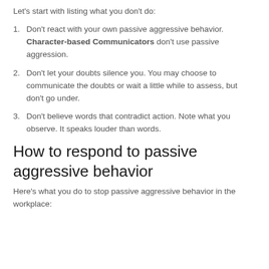Let's start with listing what you don't do:
Don't react with your own passive aggressive behavior. Character-based Communicators don't use passive aggression.
Don't let your doubts silence you. You may choose to communicate the doubts or wait a little while to assess, but don't go under.
Don't believe words that contradict action. Note what you observe. It speaks louder than words.
How to respond to passive aggressive behavior
Here's what you do to stop passive aggressive behavior in the workplace: